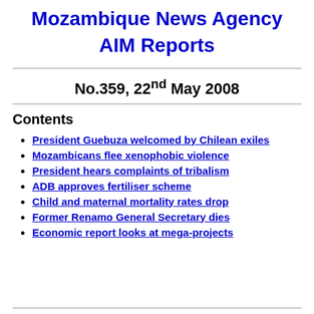Mozambique News Agency AIM Reports
No.359, 22nd May 2008
Contents
President Guebuza welcomed by Chilean exiles
Mozambicans flee xenophobic violence
President hears complaints of tribalism
ADB approves fertiliser scheme
Child and maternal mortality rates drop
Former Renamo General Secretary dies
Economic report looks at mega-projects